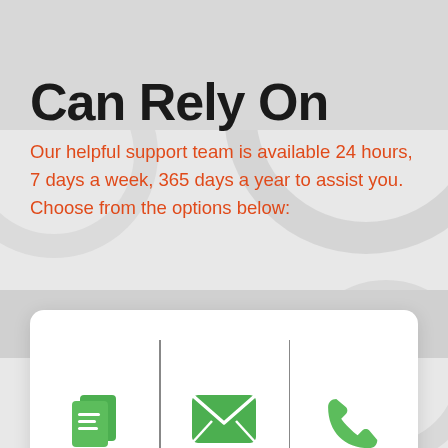Can Rely On
Our helpful support team is available 24 hours, 7 days a week, 365 days a year to assist you. Choose from the options below:
[Figure (infographic): Three-column support card with icons and labels: How-To Articles (document icon), Send An Email (envelope icon), Call Us (phone icon)]